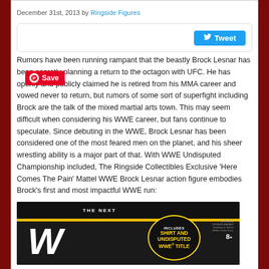December 31st, 2013 by Ringside Figures
[Figure (screenshot): Twitter Tweet button widget in a rounded rectangle box]
[Figure (infographic): Pinterest Save button overlay (red with white P icon)]
Rumors have been running rampant that the beastly Brock Lesnar has been secretly planning a return to the octagon with UFC. He has openly and publicly claimed he is retired from his MMA career and vowed never to return, but rumors of some sort of superfight including Brock are the talk of the mixed martial arts town. This may seem difficult when considering his WWE career, but fans continue to speculate. Since debuting in the WWE, Brock Lesnar has been considered one of the most feared men on the planet, and his sheer wrestling ability is a major part of that. With WWE Undisputed Championship included, The Ringside Collectibles Exclusive ‘Here Comes The Pain’ Mattel WWE Brock Lesnar action figure embodies Brock’s first and most impactful WWE run:
[Figure (photo): Mattel WWE Brock Lesnar action figure packaging showing WWE logo and 'Includes Shirt and Undisputed WWE Title' badge]